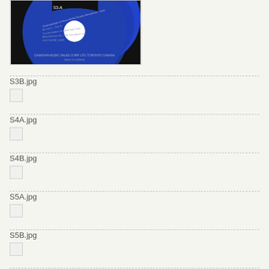[Figure (photo): Blue vinyl 45 RPM record label showing 'S3-A', text in white including 'Canadian Music Sales Corp. Ltd. Toronto Canada', made in Canada]
S3B.jpg
[Figure (photo): Thumbnail placeholder for S3B.jpg]
S4A.jpg
[Figure (photo): Thumbnail placeholder for S4A.jpg]
S4B.jpg
[Figure (photo): Thumbnail placeholder for S4B.jpg]
S5A.jpg
[Figure (photo): Thumbnail placeholder for S5A.jpg]
S5B.jpg
[Figure (photo): Thumbnail placeholder for S5B.jpg]